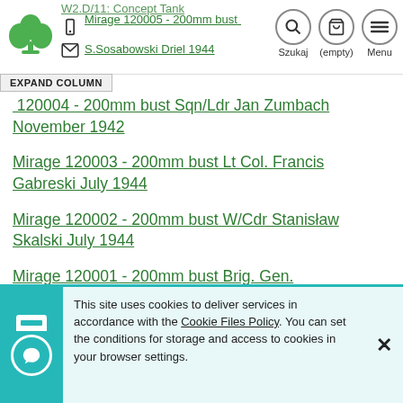Website header with logo, navigation icons (Szukaj, (empty), Menu), and partial link
EXPAND COLUMN
120004 - 200mm bust Sqn/Ldr Jan Zumbach November 1942
Mirage 120003 - 200mm bust Lt Col. Francis Gabreski July 1944
Mirage 120002 - 200mm bust W/Cdr Stanisław Skalski July 1944
Mirage 120001 - 200mm bust Brig. Gen. S.Sosabowski Driel/Arnhem 1944
This site uses cookies to deliver services in accordance with the Cookie Files Policy. You can set the conditions for storage and access to cookies in your browser settings.